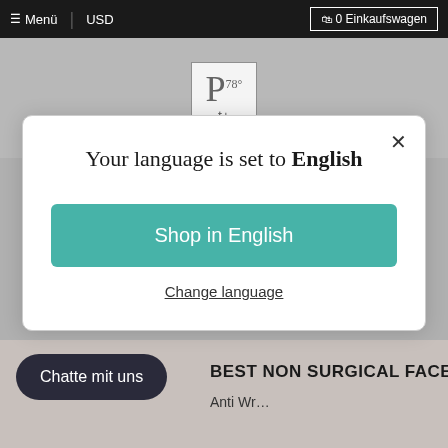☰ Menü | USD | 🛍 0 Einkaufswagen
[Figure (logo): Pt78+ platinum element logo in a box]
Your language is set to English
Shop in English
Change language
Chatte mit uns
BEST NON SURGICAL FACE LIFT
Anti Wr...
[Figure (infographic): Trust badge icons row: map pin, lock, 30-day, Shopify bag, PCI badge]